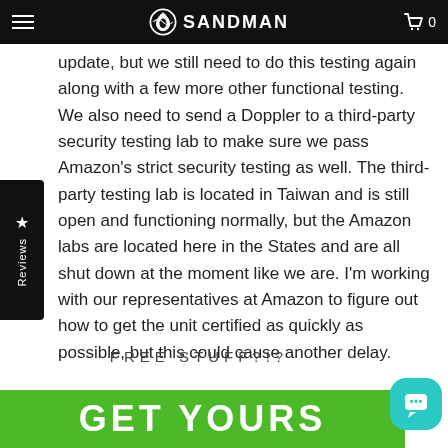SANDMAN
update, but we still need to do this testing again along with a few more other functional testing. We also need to send a Doppler to a third-party security testing lab to make sure we pass Amazon's strict security testing as well. The third-party testing lab is located in Taiwan and is still open and functioning normally, but the Amazon labs are located here in the States and are all shut down at the moment like we are. I'm working with our representatives at Amazon to figure out how to get the unit certified as quickly as possible, but this could cause another delay.
FREE STUFF?!?
[Figure (other): Green banner with bold white text reading GET YOURS]